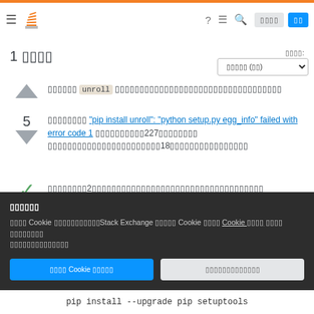Stack Overflow navigation header with hamburger menu, logo, help, chat, search, product tour, and login buttons
1 개의 답변
정렬 기준: 투표순 (기본)
파이썬에서 unroll 패키지를 설치했을 때 어떤 오류가 발생했나
"pip install unroll": "python setup.py egg_info" failed with error code 1 을 해결하는 방법을 묻는 질문으로 조회수227이며 수정된 날로부터 18개월 전에 질문되었습니다
이 질문에는 2개의 답변이 있으며 현재 이 답변이 채택되었습니다
쿠키 동의
당신의 Cookie 기본 설정을 보십시오Stack Exchange 네트워크에서 Cookie 설정을 Cookie 정책을 참고하여 필요한 쿠키와 그렇지 않은 쿠키에 대해 알아보세요
모든 Cookie 허용하기
필수적인 쿠키만 허용하기
pip install --upgrade pip setuptools